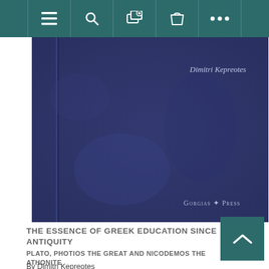[Figure (screenshot): Website navigation bar with teal/dark green background showing menu icons: hamburger menu, search, notifications, cart, and more options (ellipsis)]
[Figure (photo): Book cover of 'The Essence of Greek Education Since Antiquity' by Dimitri Kepreotes, published by Gorgias Press. Dark navy blue textured cover with author name in upper right and publisher logo in lower right.]
THE ESSENCE OF GREEK EDUCATION SINCE ANTIQUITY
PLATO, PHOTIOS THE GREAT AND NICODEMOS THE ATHONITE
By Dimitri Kepreotes